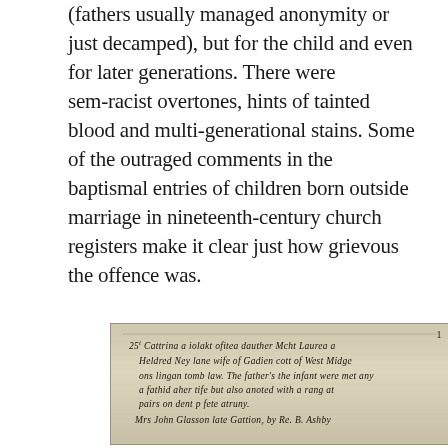(fathers usually managed anonymity or just decamped), but for the child and even for later generations. There were sem-racist overtones, hints of tainted blood and multi-generational stains. Some of the outraged comments in the baptismal entries of children born outside marriage in nineteenth-century church registers make it clear just how grievous the offence was.
[Figure (photo): A photograph of a handwritten entry from a nineteenth-century church baptismal register, showing cursive script in ink on aged paper.]